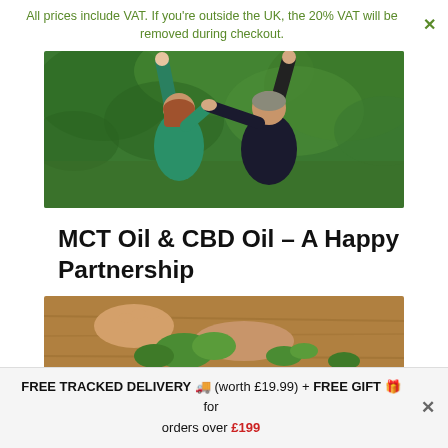All prices include VAT. If you're outside the UK, the 20% VAT will be removed during checkout.
[Figure (photo): Two people seen from behind with arms raised in celebration, standing in front of lush green tropical vegetation.]
MCT Oil & CBD Oil – A Happy Partnership
[Figure (photo): Close-up of hands handling green herbs and natural ingredients on a wooden surface.]
FREE TRACKED DELIVERY 🚚 (worth £19.99) + FREE GIFT 🎁 for orders over £199